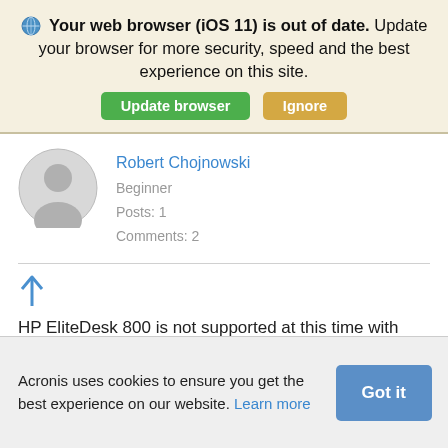Your web browser (iOS 11) is out of date. Update your browser for more security, speed and the best experience on this site.
Update browser | Ignore
Robert Chojnowski
Beginner
Posts: 1
Comments: 2
HP EliteDesk 800 is not supported at this time with V1877 also. Acronis has been contacted and I have
Acronis uses cookies to ensure you get the best experience on our website. Learn more